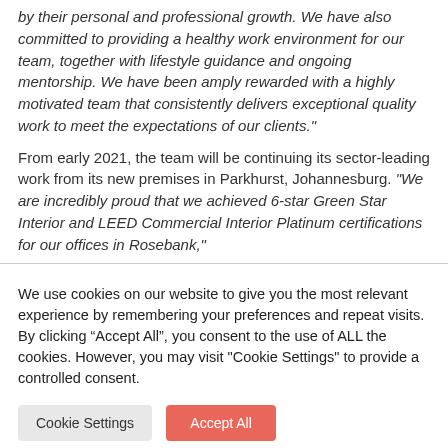by their personal and professional growth. We have also committed to providing a healthy work environment for our team, together with lifestyle guidance and ongoing mentorship. We have been amply rewarded with a highly motivated team that consistently delivers exceptional quality work to meet the expectations of our clients."
From early 2021, the team will be continuing its sector-leading work from its new premises in Parkhurst, Johannesburg. “We are incredibly proud that we achieved 6-star Green Star Interior and LEED Commercial Interior Platinum certifications for our offices in Rosebank,”
We use cookies on our website to give you the most relevant experience by remembering your preferences and repeat visits. By clicking “Accept All”, you consent to the use of ALL the cookies. However, you may visit "Cookie Settings" to provide a controlled consent.
Cookie Settings
Accept All